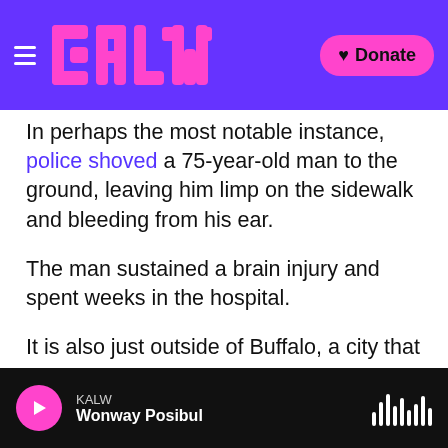KALW logo with Donate button
In perhaps the most notable instance, police shoved a 75-year-old man to the ground, leaving him limp on the sidewalk and bleeding from his ear.
The man sustained a brain injury and spent weeks in the hospital.
It is also just outside of Buffalo, a city that consistently ranks among the nation's most segregated, that correctional officer Gregory C. Foster II reportedly joked about the Tops shooting rampage, sharing on Facebook a meme that referenced "clean up" on multiple aisles.
KALW — Wonway Posibul